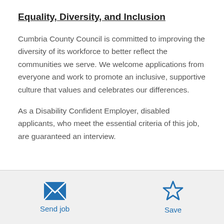Equality, Diversity, and Inclusion
Cumbria County Council is committed to improving the diversity of its workforce to better reflect the communities we serve. We welcome applications from everyone and work to promote an inclusive, supportive culture that values and celebrates our differences.
As a Disability Confident Employer, disabled applicants, who meet the essential criteria of this job, are guaranteed an interview.
[Figure (other): Send job button with envelope icon]
[Figure (other): Save button with star icon]